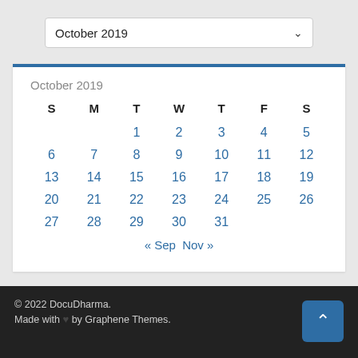October 2019
| S | M | T | W | T | F | S |
| --- | --- | --- | --- | --- | --- | --- |
|  |  | 1 | 2 | 3 | 4 | 5 |
| 6 | 7 | 8 | 9 | 10 | 11 | 12 |
| 13 | 14 | 15 | 16 | 17 | 18 | 19 |
| 20 | 21 | 22 | 23 | 24 | 25 | 26 |
| 27 | 28 | 29 | 30 | 31 |  |  |
« Sep  Nov »
© 2022 DocuDharma. Made with ♥ by Graphene Themes.